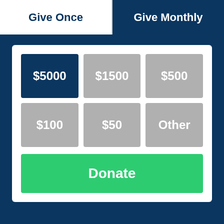Give Once
Give Monthly
[Figure (screenshot): Donation widget with amount buttons: $5000 (selected, navy), $1500, $500, $100, $50, Other (all gray), and a green Donate button at bottom]
$5000
$1500
$500
$100
$50
Other
Donate